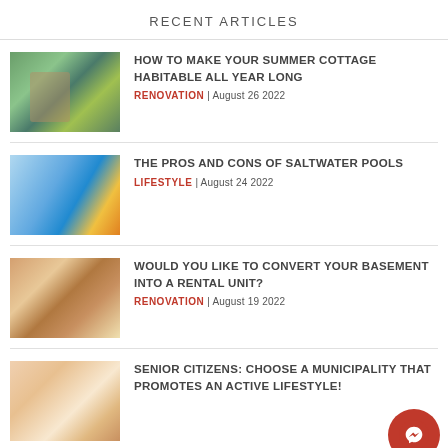RECENT ARTICLES
HOW TO MAKE YOUR SUMMER COTTAGE HABITABLE ALL YEAR LONG | RENOVATION | August 26 2022
THE PROS AND CONS OF SALTWATER POOLS | LIFESTYLE | August 24 2022
WOULD YOU LIKE TO CONVERT YOUR BASEMENT INTO A RENTAL UNIT? | RENOVATION | August 19 2022
SENIOR CITIZENS: CHOOSE A MUNICIPALITY THAT PROMOTES AN ACTIVE LIFESTYLE!